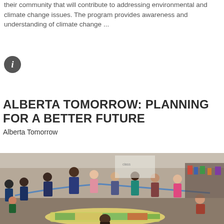their community that will contribute to addressing environmental and climate change issues. The program provides awareness and understanding of climate change ...
[Figure (infographic): Info icon — dark circle with italic letter i in white]
ALBERTA TOMORROW: PLANNING FOR A BETTER FUTURE
Alberta Tomorrow
[Figure (photo): Classroom photo of children and a teacher standing in a circle holding a rope around a colorful map on the floor, engaged in a group activity.]